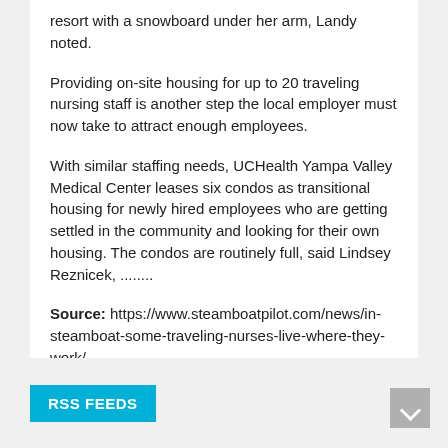resort with a snowboard under her arm, Landy noted.
Providing on-site housing for up to 20 traveling nursing staff is another step the local employer must now take to attract enough employees.
With similar staffing needs, UCHealth Yampa Valley Medical Center leases six condos as transitional housing for newly hired employees who are getting settled in the community and looking for their own housing. The condos are routinely full, said Lindsey Reznicek, ........
Source: https://www.steamboatpilot.com/news/in-steamboat-some-traveling-nurses-live-where-they-work/
RSS FEEDS